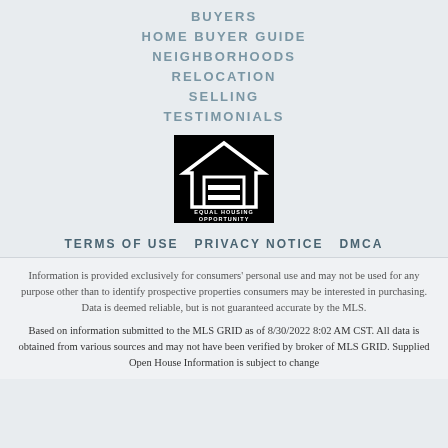BUYERS
HOME BUYER GUIDE
NEIGHBORHOODS
RELOCATION
SELLING
TESTIMONIALS
[Figure (logo): Equal Housing Opportunity logo — black square with white house outline and equal sign, with text EQUAL HOUSING OPPORTUNITY below]
TERMS OF USE  PRIVACY NOTICE  DMCA
Information is provided exclusively for consumers' personal use and may not be used for any purpose other than to identify prospective properties consumers may be interested in purchasing. Data is deemed reliable, but is not guaranteed accurate by the MLS.
Based on information submitted to the MLS GRID as of 8/30/2022 8:02 AM CST. All data is obtained from various sources and may not have been verified by broker of MLS GRID. Supplied Open House Information is subject to change